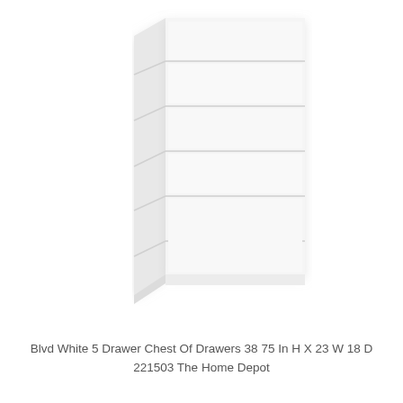[Figure (photo): A white 5-drawer chest of drawers (dresser) photographed against a white background. The dresser has a slightly angled perspective view showing the front face with 5 stacked horizontal drawers and a narrow left side panel. The furniture is entirely white/off-white.]
Blvd White 5 Drawer Chest Of Drawers 38 75 In H X 23 W 18 D 221503 The Home Depot